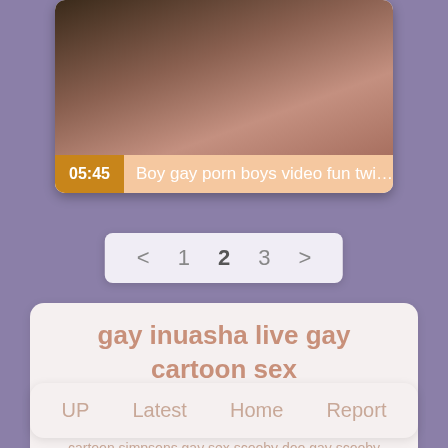[Figure (screenshot): Video thumbnail showing close-up skin tones in dark and warm colors]
05:45  Boy gay porn boys video fun twink is...
< 1 2 3 >
gay inuasha live gay cartoon sex
hotgay sexy gay sissy fantasy cartoon
black gay slave whipped beautiful shemalesfuckguys
cartoon simpsons gay sex scooby doo gay scooby merried gay guys
gay sex out in public galleries
UP  Latest  Home  Report